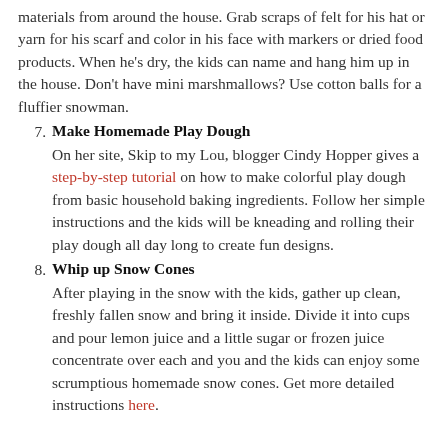materials from around the house. Grab scraps of felt for his hat or yarn for his scarf and color in his face with markers or dried food products. When he's dry, the kids can name and hang him up in the house. Don't have mini marshmallows? Use cotton balls for a fluffier snowman.
7. Make Homemade Play Dough
On her site, Skip to my Lou, blogger Cindy Hopper gives a step-by-step tutorial on how to make colorful play dough from basic household baking ingredients. Follow her simple instructions and the kids will be kneading and rolling their play dough all day long to create fun designs.
8. Whip up Snow Cones
After playing in the snow with the kids, gather up clean, freshly fallen snow and bring it inside. Divide it into cups and pour lemon juice and a little sugar or frozen juice concentrate over each and you and the kids can enjoy some scrumptious homemade snow cones. Get more detailed instructions here.